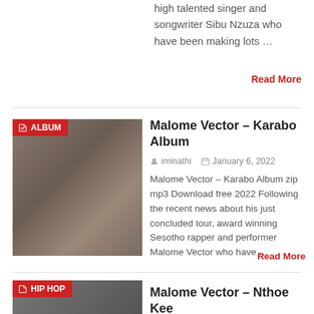high talented singer and songwriter Sibu Nzuza who have been making lots …
Read More
[Figure (photo): Photo of two people in traditional attire seated on wooden chairs with ALBUM badge]
Malome Vector – Karabo Album
iminathi   January 6, 2022
Malome Vector – Karabo Album zip mp3 Download free 2022 Following the recent news about his just concluded tour, award winning Sesotho rapper and performer Malome Vector who have …
Read More
[Figure (photo): Partial photo with HIP HOP badge overlay]
Malome Vector – Nthoe Kee